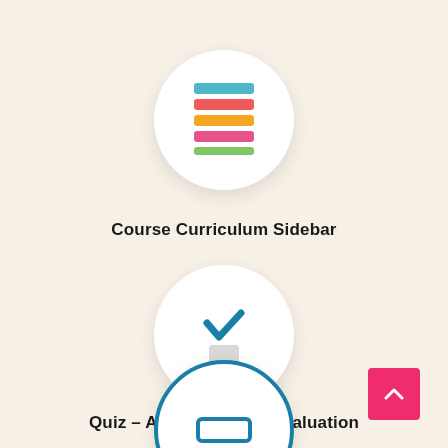[Figure (illustration): Circular white icon with colorful horizontal bars representing a curriculum sidebar: teal, orange/red, yellow/orange, pink, green, and teal bars stacked vertically]
Course Curriculum Sidebar
[Figure (illustration): Circular white icon with a teal checkmark above a grey rectangular block, representing quiz or evaluation]
Quiz – Auto & Manual Evaluation
[Figure (illustration): Circular white icon partially visible at the bottom, with a teal rounded rectangle border, representing another feature]
[Figure (other): Pink/red square FAB button with a white up arrow chevron in the bottom-right corner]